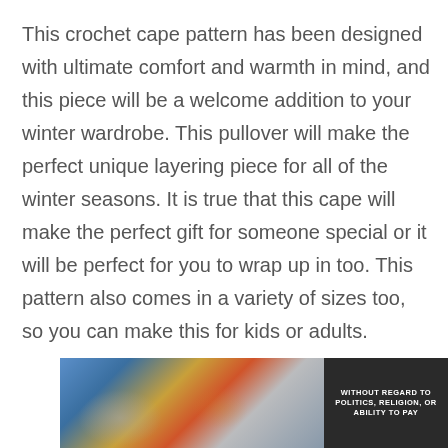This crochet cape pattern has been designed with ultimate comfort and warmth in mind, and this piece will be a welcome addition to your winter wardrobe. This pullover will make the perfect unique layering piece for all of the winter seasons. It is true that this cape will make the perfect gift for someone special or it will be perfect for you to wrap up in too. This pattern also comes in a variety of sizes too, so you can make this for kids or adults.
[Figure (photo): Advertisement banner showing cargo being loaded onto a commercial aircraft with a dark panel on the right reading 'WITHOUT REGARD TO POLITICS, RELIGION, OR ABILITY TO PAY' in white bold text.]